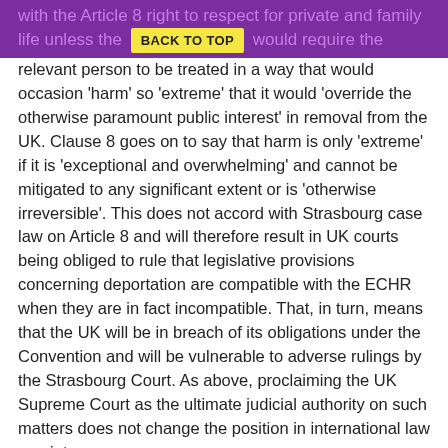with the Article 8 right to respect for private and family life unless the [BACK TO TOP] decision would require the
relevant person to be treated in a way that would occasion 'harm' so 'extreme' that it would 'override the otherwise paramount public interest' in removal from the UK. Clause 8 goes on to say that harm is only 'extreme' if it is 'exceptional and overwhelming' and cannot be mitigated to any significant extent or is 'otherwise irreversible'. This does not accord with Strasbourg case law on Article 8 and will therefore result in UK courts being obliged to rule that legislative provisions concerning deportation are compatible with the ECHR when they are in fact incompatible. That, in turn, means that the UK will be in breach of its obligations under the Convention and will be vulnerable to adverse rulings by the Strasbourg Court. As above, proclaiming the UK Supreme Court as the ultimate judicial authority on such matters does not change the position in international law one iota.